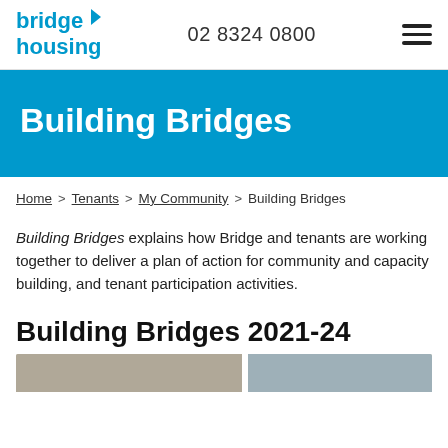bridge housing | 02 8324 0800
Building Bridges
Home > Tenants > My Community > Building Bridges
Building Bridges explains how Bridge and tenants are working together to deliver a plan of action for community and capacity building, and tenant participation activities.
Building Bridges 2021-24
[Figure (photo): Two side-by-side images at bottom of page, partially visible]